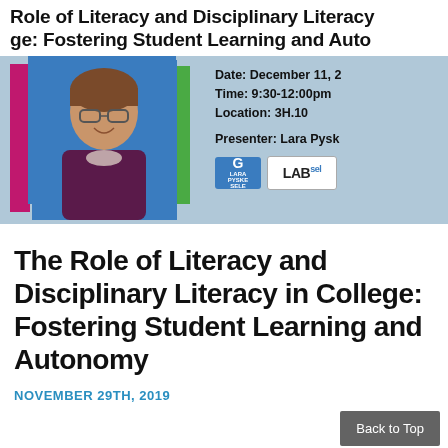Role of Literacy and Disciplinary Literacy in College: Fostering Student Learning and Autonomy
[Figure (photo): Event banner with photo of presenter Lara Pysk, colorful geometric blocks (magenta, blue, green), event details on light blue background. Date: December 11, Time: 9:30-12:00pm, Location: 3H.10, Presenter: Lara Pysk. Logos for G (blue square) and LABsel.]
The Role of Literacy and Disciplinary Literacy in College: Fostering Student Learning and Autonomy
NOVEMBER 29TH, 2019